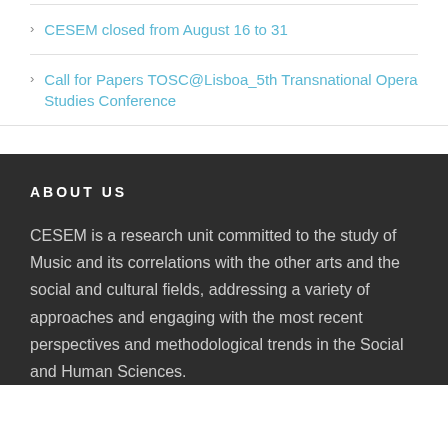CESEM closed from August 16 to 31
Call for Papers TOSC@Lisboa_5th Transnational Opera Studies Conference
ABOUT US
CESEM is a research unit committed to the study of Music and its correlations with the other arts and the social and cultural fields, addressing a variety of approaches and engaging with the most recent perspectives and methodological trends in the Social and Human Sciences.